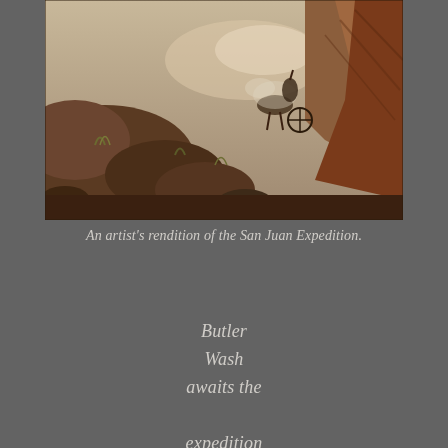[Figure (illustration): An artist's rendition painting of the San Juan Expedition showing rocky desert terrain with horses and wagons navigating through rugged canyon landscape with dust and smoke.]
An artist's rendition of the San Juan Expedition.
Butler Wash awaits the expedition after traversing up and over the Comb Ridge